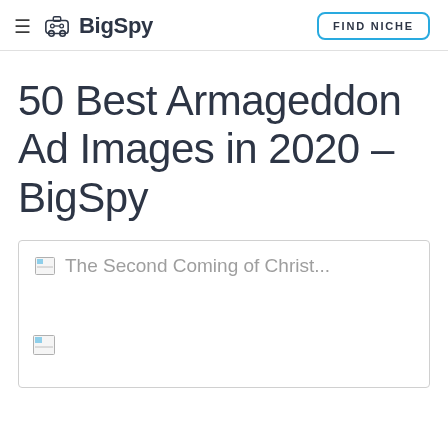BigSpy | FIND NICHE
50 Best Armageddon Ad Images in 2020 – BigSpy
[Figure (screenshot): Content box with broken image placeholder icons and text 'The Second Coming of Christ...']